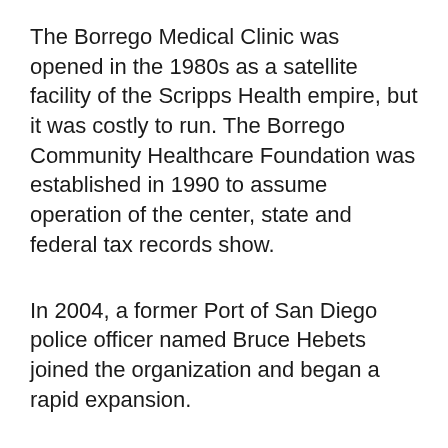The Borrego Medical Clinic was opened in the 1980s as a satellite facility of the Scripps Health empire, but it was costly to run. The Borrego Community Healthcare Foundation was established in 1990 to assume operation of the center, state and federal tax records show.
In 2004, a former Port of San Diego police officer named Bruce Hebets joined the organization and began a rapid expansion.
What had been a remote health care provider operating a single clinic for less than $1 million a year grew into a multi-county organization that now operates some 40 facilities in San Diego, Riverside and San Bernardino counties.
Over the past five years, the Foundation reported almost $1 billion in revenue, most of it from